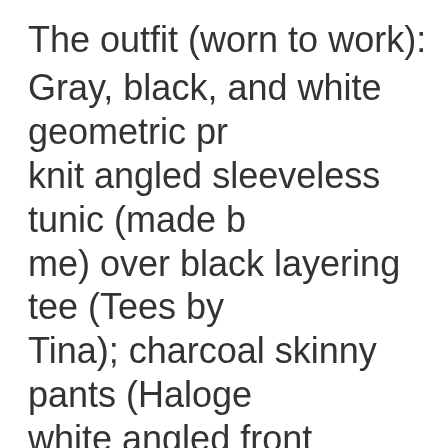The outfit (worn to work): Gray, black, and white geometric pr knit angled sleeveless tunic (made b me) over black layering tee (Tees by Tina); charcoal skinny pants (Haloge white angled front cropped cardi (N Zoe); black suede booties with gray (Paul Green, Barbara).
I also tried the outfit with my charco